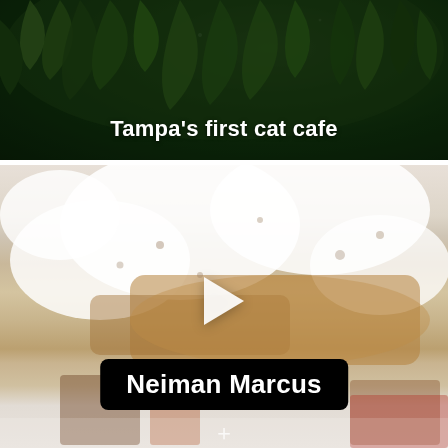[Figure (photo): Dark green tropical foliage/ferns background with bold white text overlay reading 'Tampa's first cat cafe']
Tampa's first cat cafe
[Figure (photo): Distressed/peeling white and gold wall texture with a white play button triangle overlay and a black pill-shaped label reading 'Neiman Marcus' in white bold text. A plus icon is at the bottom center.]
Neiman Marcus